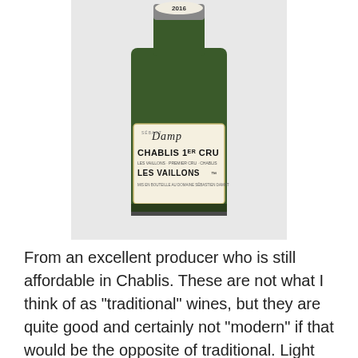[Figure (photo): Photo of a wine bottle showing a 2016 Chablis 1er Cru Les Vaillons label from Sébastien Dampt (Domaine Sébastien Dampt). The bottle is dark green glass, partially cut off at the top, showing the label clearly.]
From an excellent producer who is still affordable in Chablis.  These are not what I think of as "traditional" wines, but they are quite good and certainly not "modern" if that would be the opposite of traditional.  Light golden in color.  The nose has